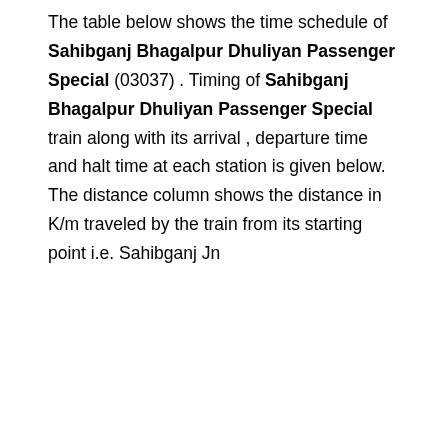The table below shows the time schedule of Sahibganj Bhagalpur Dhuliyan Passenger Special (03037) . Timing of Sahibganj Bhagalpur Dhuliyan Passenger Special train along with its arrival , departure time and halt time at each station is given below. The distance column shows the distance in K/m traveled by the train from its starting point i.e. Sahibganj Jn